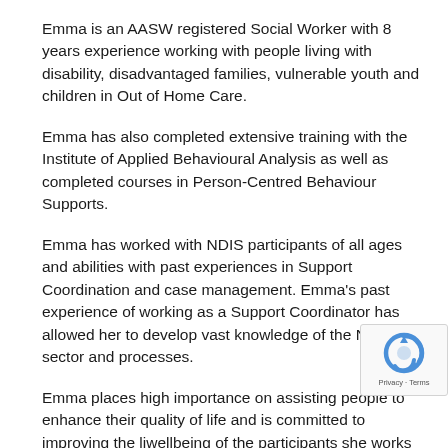Emma is an AASW registered Social Worker with 8 years experience working with people living with disability, disadvantaged families, vulnerable youth and children in Out of Home Care.
Emma has also completed extensive training with the Institute of Applied Behavioural Analysis as well as completed courses in Person-Centred Behaviour Supports.
Emma has worked with NDIS participants of all ages and abilities with past experiences in Support Coordination and case management. Emma's past experience of working as a Support Coordinator has allowed her to develop vast knowledge of the NDIS sector and processes.
Emma places high importance on assisting people to enhance their quality of life and is committed to improving the li... wellbeing of the participants she works with.  Emma en... approaching behaviour support in a strengths based approach,